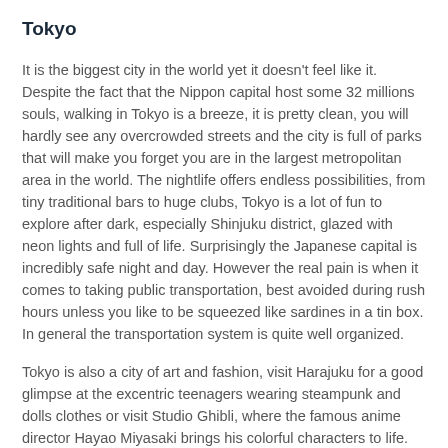Tokyo
It is the biggest city in the world yet it doesn't feel like it. Despite the fact that the Nippon capital host some 32 millions souls, walking in Tokyo is a breeze, it is pretty clean, you will hardly see any overcrowded streets and the city is full of parks that will make you forget you are in the largest metropolitan area in the world. The nightlife offers endless possibilities, from tiny traditional bars to huge clubs, Tokyo is a lot of fun to explore after dark, especially Shinjuku district, glazed with neon lights and full of life. Surprisingly the Japanese capital is incredibly safe night and day. However the real pain is when it comes to taking public transportation, best avoided during rush hours unless you like to be squeezed like sardines in a tin box. In general the transportation system is quite well organized.
Tokyo is also a city of art and fashion, visit Harajuku for a good glimpse at the excentric teenagers wearing steampunk and dolls clothes or visit Studio Ghibli, where the famous anime director Hayao Miyasaki brings his colorful characters to life. Tokyo has also a huge fish market and some of the